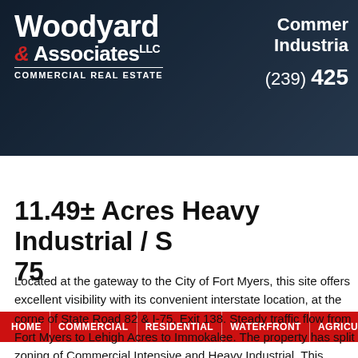[Figure (logo): Woodyard & Associates LLC Commercial Real Estate logo on dark building background banner]
Commercial Industrial (239) 425...
HOME | COMMERCIAL | RESIDENTIAL | WATERFRONT | AGRICULTURAL |
11.49± Acres Heavy Industrial / S... 75
Located at the gateway to the City of Fort Myers, this site offers excellent visibility with its convenient interstate location, at the corner of State Road 82 & I-75, Exit 138. Steady traffic flow from Fort Myers to Lehigh Acres to Immokalee. The property has split zoning of Commercial Intensive and Heavy Industrial. This allows for a broad range of permitted uses. The property is also located in the "Enterprise Zone", which offers numerous benefits including sales tax exemptions, income tax credit, and property tax credit. There are also local incentives that include a reduction in occupational licenses. A combined total of 47.82± Acres is also available - Call for Details.